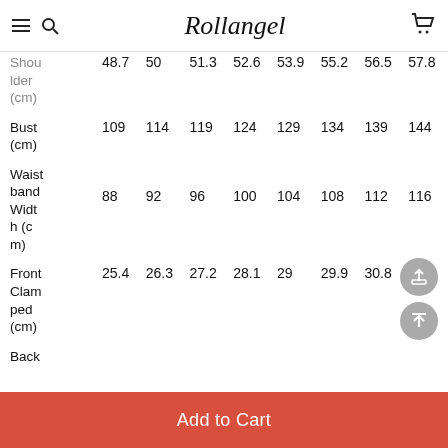Rollangel
| Shou lder (cm) | 48.7 | 50 | 51.3 | 52.6 | 53.9 | 55.2 | 56.5 | 57.8 |
| Bust (cm) | 109 | 114 | 119 | 124 | 129 | 134 | 139 | 144 |
| Waistband Width (cm) | 88 | 92 | 96 | 100 | 104 | 108 | 112 | 116 |
| Front Clamped (cm) | 25.4 | 26.3 | 27.2 | 28.1 | 29 | 29.9 | 30.8 | 31.7 |
| Back |  |  |  |  |  |  |  |  |
Add to Cart